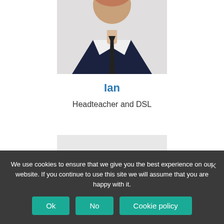[Figure (photo): Headshot of Ian, a man in a dark navy suit with a black tie and white shirt, photo cropped at chest level]
Ian
Headteacher and DSL
[Figure (photo): Headshot of a woman with dark hair, photo cropped showing top of head and shoulders against a light background]
We use cookies to ensure that we give you the best experience on our website. If you continue to use this site we will assume that you are happy with it.